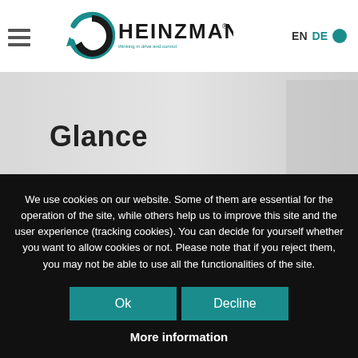[Figure (logo): Heinzmann logo with circular arrow icon and tagline 'thinking in drive and control']
Glance
Central control of all system functions by the
We use cookies on our website. Some of them are essential for the operation of the site, while others help us to improve this site and the user experience (tracking cookies). You can decide for yourself whether you want to allow cookies or not. Please note that if you reject them, you may not be able to use all the functionalities of the site.
Ok
Decline
More information